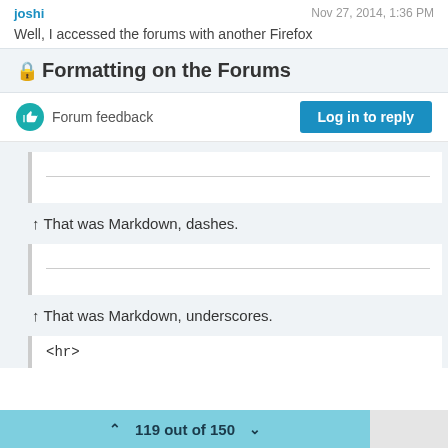joshi   Nov 27, 2014, 1:36 PM
Well, I accessed the forums with another Firefox
🔒 Formatting on the Forums
Forum feedback
Log in to reply
↑ That was Markdown, dashes.
↑ That was Markdown, underscores.
<hr>
119 out of 150